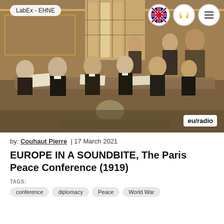[Figure (photo): Historical painting depicting the Paris Peace Conference of 1919, showing a group of statesmen and diplomats in formal attire seated and standing around a large table covered with documents, in an ornate room with large windows. An 'eu/radio' watermark badge appears in the bottom-right corner of the image. A 'LabEx - EHNE' badge appears in the top-left, and UK flag / headphone / menu navigation icons appear in the top-right.]
by: Couhaut Pierre | 17 March 2021
EUROPE IN A SOUNDBITE, The Paris Peace Conference (1919)
TAGS:
conference
diplomacy
Peace
World War